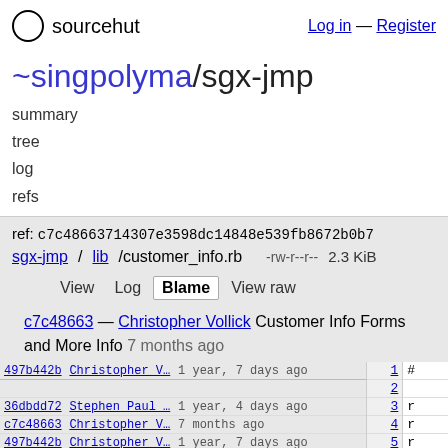sourcehut   Log in — Register
~singpolyma/sgx-jmp
summary
tree
log
refs
ref: c7c48663714307e3598dc14848e539fb8672b0b7
sgx-jmp/lib/customer_info.rb   -rw-r--r--   2.3 KiB
View   Log   Blame   View raw
c7c48663 — Christopher Vollick Customer Info Forms and More Info 7 months ago
| hash | author | time | line | code |
| --- | --- | --- | --- | --- |
| 497b442b | Christopher V… | 1 year, 7 days ago | 1 | # |
|  |  |  | 2 |  |
| 36dbdd72 | Stephen Paul … | 1 year, 4 days ago | 3 | r |
| c7c48663 | Christopher V… | 7 months ago | 4 | r |
| 497b442b | Christopher V… | 1 year, 7 days ago | 5 | r |
|  |  |  | 6 | r |